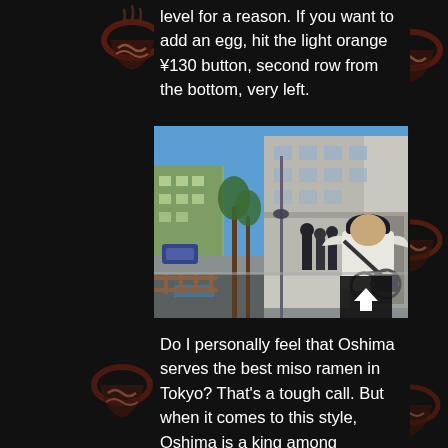level for a reason. If you want to add an egg, hit the light orange ¥130 button, second row from the bottom, very left.
[Figure (photo): Street-level photograph of a Japanese urban sidewalk on a sunny day. A man in a white t-shirt and dark cap stands with his back to the camera, looking toward a group of people gathered at the entrance of a multi-story building. Bicycles are parked nearby. Blue sky visible above the buildings and sparse trees.]
Do I personally feel that Oshima serves the best miso ramen in Tokyo? That's a tough call. But when it comes to this style, Oshima is a king among